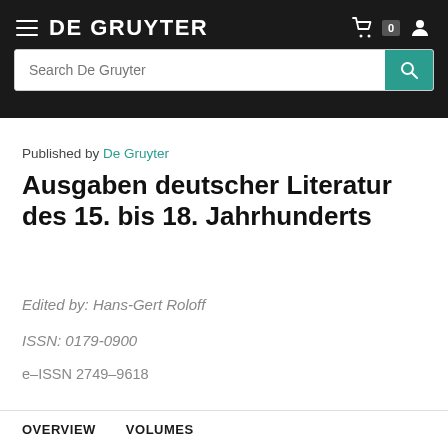DE GRUYTER
Published by De Gruyter
Ausgaben deutscher Literatur des 15. bis 18. Jahrhunderts
Edited by: Hans-Gert Roloff
ISSN: 0179-0900
e-ISSN 2749-9618
OVERVIEW    VOLUMES